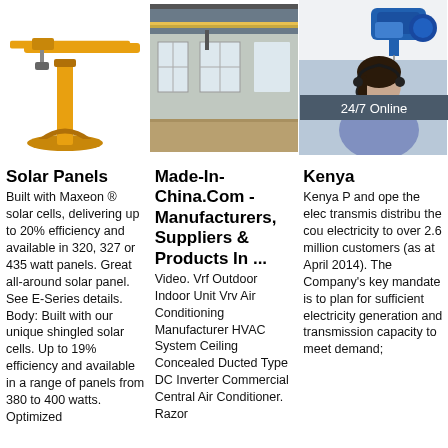[Figure (illustration): Yellow jib crane / column-mounted crane on white background]
[Figure (photo): Interior of industrial building with overhead crane rail and yellow beam]
[Figure (photo): Blue electric wire rope hoist with '24/7 Online' banner, customer service representative, Click here for free chat button, and QUOTATION button overlay]
Solar Panels
Built with Maxeon ® solar cells, delivering up to 20% efficiency and available in 320, 327 or 435 watt panels. Great all-around solar panel. See E-Series details. Body: Built with our unique shingled solar cells. Up to 19% efficiency and available in a range of panels from 380 to 400 watts. Optimized
Made-In-China.Com - Manufacturers, Suppliers & Products In ...
Video. Vrf Outdoor Indoor Unit Vrv Air Conditioning Manufacturer HVAC System Ceiling Concealed Ducted Type DC Inverter Commercial Central Air Conditioner. Razor Wind?
Kenya
Kenya P and ope the elec transmi distribu the cou electricity to over 2.6 million customers (as at April 2014). The Company's key mandate is to plan for sufficient electricity generation and transmission capacity to meet demand;